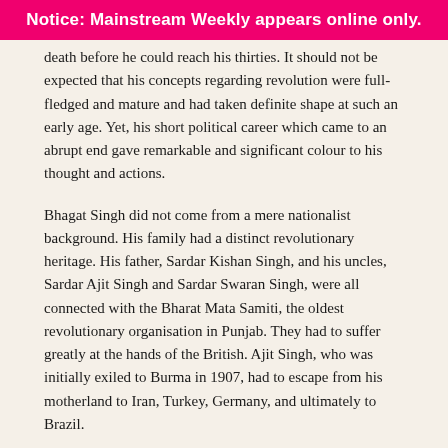Notice: Mainstream Weekly appears online only.
death before he could reach his thirties. It should not be expected that his concepts regarding revolution were full-fledged and mature and had taken definite shape at such an early age. Yet, his short political career which came to an abrupt end gave remarkable and significant colour to his thought and actions.
Bhagat Singh did not come from a mere nationalist background. His family had a distinct revolutionary heritage. His father, Sardar Kishan Singh, and his uncles, Sardar Ajit Singh and Sardar Swaran Singh, were all connected with the Bharat Mata Samiti, the oldest revolutionary organisation in Punjab. They had to suffer greatly at the hands of the British. Ajit Singh, who was initially exiled to Burma in 1907, had to escape from his motherland to Iran, Turkey, Germany, and ultimately to Brazil.
Coming as he did from such a family, in his childhood and adolescent years Bhagat Singh naturally came in close